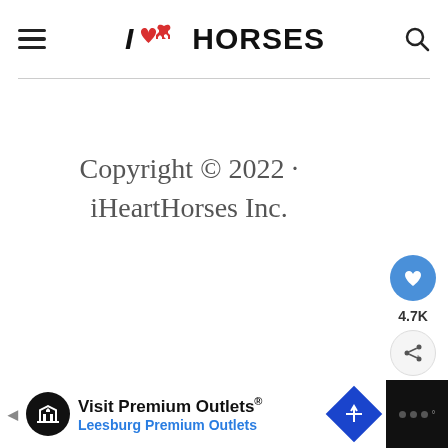I ❤ HORSES
Copyright © 2022 · iHeartHorses Inc.
Terms and Conditions · Privacy Policy
Exclusive Member of Mediavine Foo...
[Figure (screenshot): WHAT'S NEXT arrow banner with thumbnail image of horse in field and text: Mare Teaches Her Baby Ho...]
[Figure (infographic): Advertisement bar at bottom: Visit Premium Outlets® Leesburg Premium Outlets with logo and directional sign icon]